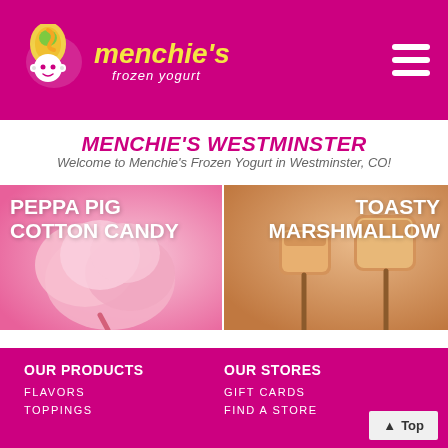Menchie's Frozen Yogurt
MENCHIE'S WESTMINSTER PROMENADE
Welcome to Menchie's Frozen Yogurt in Westminster, CO!
[Figure (photo): Left panel: Pink cotton candy on a stick against a pink background with text 'PEPPA PIG COTTON CANDY']
[Figure (photo): Right panel: Toasted marshmallows on sticks against a warm background with text 'TOASTY MARSHMALLOW']
OUR PRODUCTS
FLAVORS
TOPPINGS
OUR STORES
GIFT CARDS
FIND A STORE